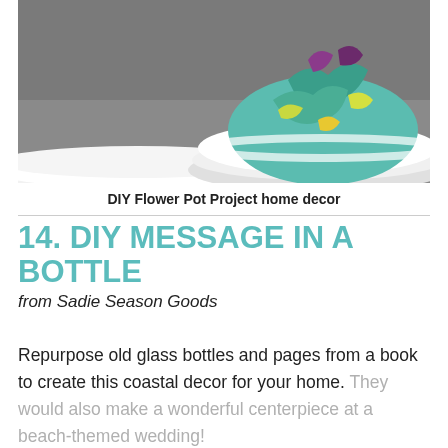[Figure (photo): Photograph of white ceramic bowls/saucers stacked, with a colorful floral-patterned bowl on top, on a grey surface]
DIY Flower Pot Project home decor
14. DIY MESSAGE IN A BOTTLE
from Sadie Season Goods
Repurpose old glass bottles and pages from a book to create this coastal decor for your home. They would also make a wonderful centerpiece at a beach-themed wedding!